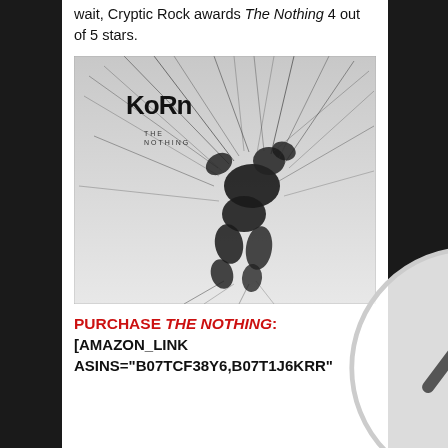wait, Cryptic Rock awards The Nothing 4 out of 5 stars.
[Figure (photo): Album cover for Korn - The Nothing, black and white image showing a wire/thread sculpture of a figure suspended and tangled in lines, with 'KoRn' written at top left and 'THE NOTHING' below it.]
PURCHASE THE NOTHING: [AMAZON_LINK ASINS="B07TCF38Y6,B07T1J6KRR"